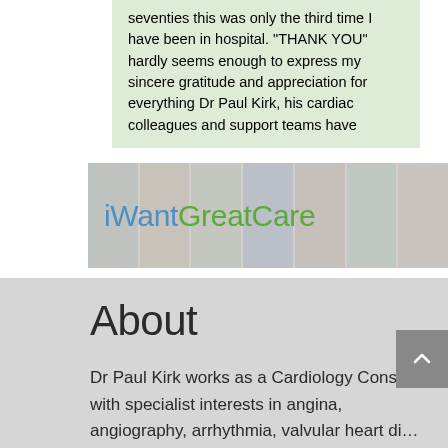seventies this was only the third time I have been in hospital. "THANK YOU" hardly seems enough to express my sincere gratitude and appreciation for everything Dr Paul Kirk, his cardiac colleagues and support teams have
[Figure (logo): iWantGreatCare logo with face collage background strip]
About
Dr Paul Kirk works as a Cardiology Consultant with specialist interests in angina, angiography, arrhythmia, valvular heart di...